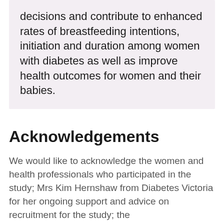decisions and contribute to enhanced rates of breastfeeding intentions, initiation and duration among women with diabetes as well as improve health outcomes for women and their babies.
Acknowledgements
We would like to acknowledge the women and health professionals who participated in the study; Mrs Kim Hernshaw from Diabetes Victoria for her ongoing support and advice on recruitment for the study; the